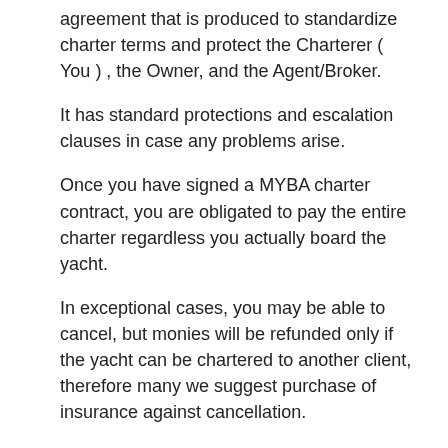agreement that is produced to standardize charter terms and protect the Charterer ( You ) , the Owner, and the Agent/Broker.
It has standard protections and escalation clauses in case any problems arise.
Once you have signed a MYBA charter contract, you are obligated to pay the entire charter regardless you actually board the yacht.
In exceptional cases, you may be able to cancel, but monies will be refunded only if the yacht can be chartered to another client, therefore many we suggest purchase of insurance against cancellation.
Charter fee is paid in two rates ; 50% of charter fee when the charter contract is signed and 50 % 4 weeks before